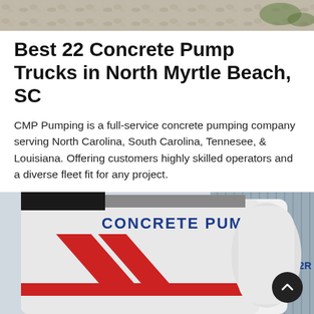[Figure (photo): Top banner photo showing gravel/construction site ground texture]
Best 22 Concrete Pump Trucks in North Myrtle Beach, SC
CMP Pumping is a full-service concrete pumping company serving North Carolina, South Carolina, Tennesee, & Louisiana. Offering customers highly skilled operators and a diverse fleet fit for any project.
Learn More
[Figure (photo): Photo of a white concrete pump truck labeled 'CONCRETE PUMP' with red chevron stripes and model number HBTS60-12-82R]